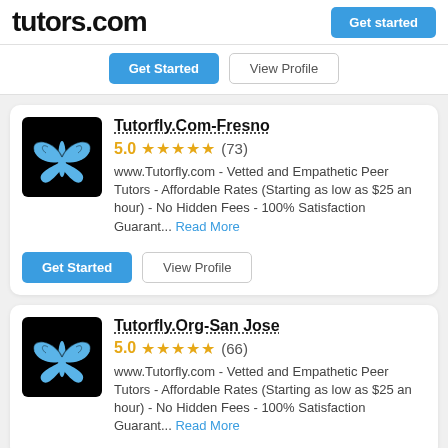tutors.com
Get Started | View Profile
Tutorfly.Com-Fresno
5.0 ★★★★★ (73)
www.Tutorfly.com - Vetted and Empathetic Peer Tutors - Affordable Rates (Starting as low as $25 an hour) - No Hidden Fees - 100% Satisfaction Guarant... Read More
Get Started | View Profile
Tutorfly.Org-San Jose
5.0 ★★★★★ (66)
www.Tutorfly.com - Vetted and Empathetic Peer Tutors - Affordable Rates (Starting as low as $25 an hour) - No Hidden Fees - 100% Satisfaction Guarant... Read More